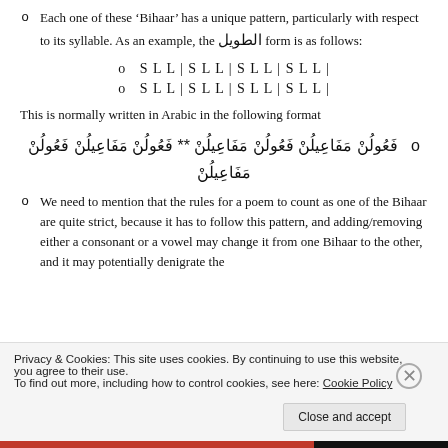Each one of these ‘Bihaar’ has a unique pattern, particularly with respect to its syllable. As an example, the الطويل form is as follows:
o  SLL|SLL|SLL|SLL|
o  SLL|SLL|SLL|SLL|
This is normally written in Arabic in the following format
فَعُولُنْ مَفَاعِيلُنْ فَعُولُنْ مَفَاعِيلُنْ ** فَعُولُنْ مَفَاعِيلُنْ فَعُولُنْ مَفَاعِيلُنْ
We need to mention that the rules for a poem to count as one of the Bihaar are quite strict, because it has to follow this pattern, and adding/removing either a consonant or a vowel may change it from one Bihaar to the other, and it may potentially denigrate the
Privacy & Cookies: This site uses cookies. By continuing to use this website, you agree to their use.
To find out more, including how to control cookies, see here: Cookie Policy
Close and accept